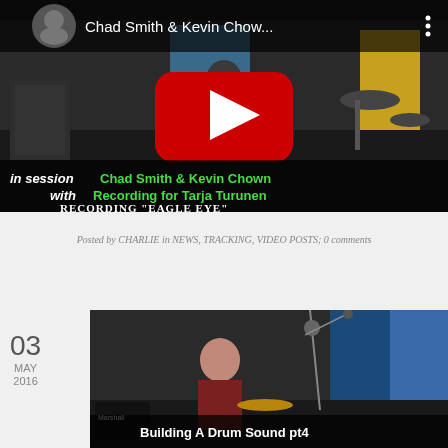[Figure (screenshot): YouTube video thumbnail showing Chad Smith & Kevin Chow in session recording 'Eagle Eye' for Tarja Turunen, with a red YouTube play button overlay, musicians visible in a recording studio with drums]
Posted by CHARLIE in NEWS, TRACKING, VIDEO POSTS; 0 comments
03 MAY 2016
[Figure (screenshot): YouTube video thumbnail showing a man in a recording studio with drums and microphone stands, titled 'Building A Drum Sound pt4']